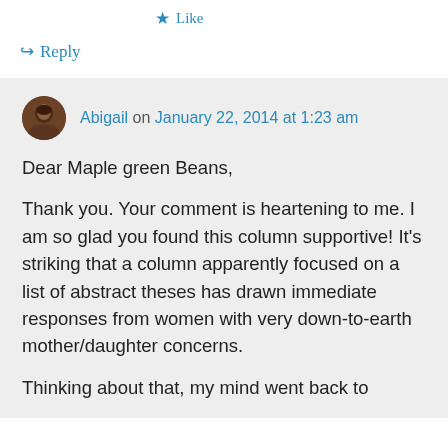★ Like
↪ Reply
Abigail on January 22, 2014 at 1:23 am
Dear Maple green Beans,

Thank you. Your comment is heartening to me. I am so glad you found this column supportive! It's striking that a column apparently focused on a list of abstract theses has drawn immediate responses from women with very down-to-earth mother/daughter concerns.

Thinking about that, my mind went back to